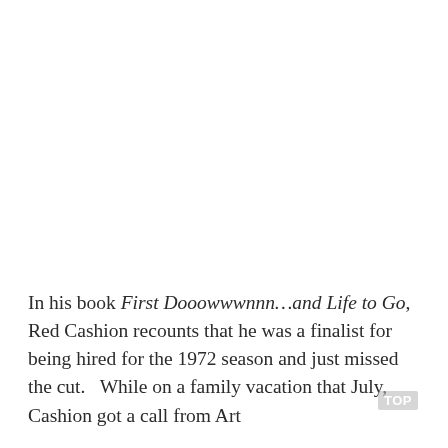In his book First Dooowwwnnn...and Life to Go, Red Cashion recounts that he was a finalist for being hired for the 1972 season and just missed the cut.   While on a family vacation that July, Cashion got a call from Art